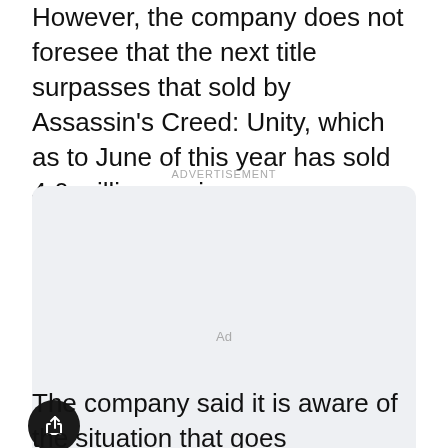However, the company does not foresee that the next title surpasses that sold by Assassin's Creed: Unity, which as to June of this year has sold 4.6 million copies.
[Figure (other): Advertisement placeholder box with light gray background, rounded corners, and 'Ad' label in center. Below the ad label 'ADVERTISEMENT' appears above the box.]
The company said it is aware of the situation that goes